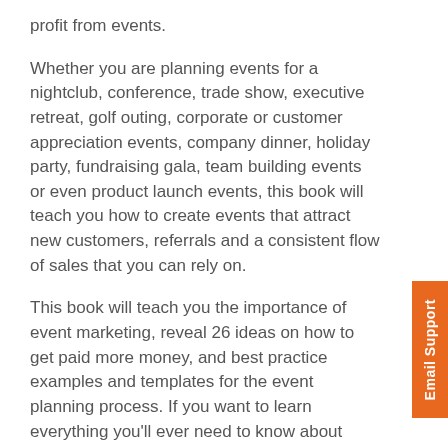profit from events.
Whether you are planning events for a nightclub, conference, trade show, executive retreat, golf outing, corporate or customer appreciation events, company dinner, holiday party, fundraising gala, team building events or even product launch events, this book will teach you how to create events that attract new customers, referrals and a consistent flow of sales that you can rely on.
This book will teach you the importance of event marketing, reveal 26 ideas on how to get paid more money, and best practice examples and templates for the event planning process. If you want to learn everything you'll ever need to know about event marketing, this is the book for you!
What is inside of this book?